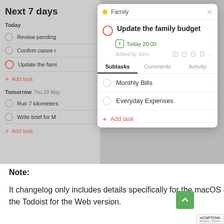[Figure (screenshot): Screenshot of a Todoist-like task management app showing a 'Next 7 days' view on the left panel (grayed out) with tasks including 'Review pending', 'Confirm canoe r', 'Update the fami', and 'Add task' under Today, plus 'Run 7 kilometers', 'Write brief for M', and 'Add task' under Tomorrow (Thu 29 May). On the right, a modal popup shows a task detail panel for 'Update the family budget' in the 'Family' project, due Today 20:00, added by John, with Subtasks tab active showing 'Monthly Bills' and 'Everyday Expenses' subtasks, plus an Add task option.]
Note:
It changelog only includes details specifically for the macOS app. In addition, the macOS app inherits every update from the Todoist for the Web version.